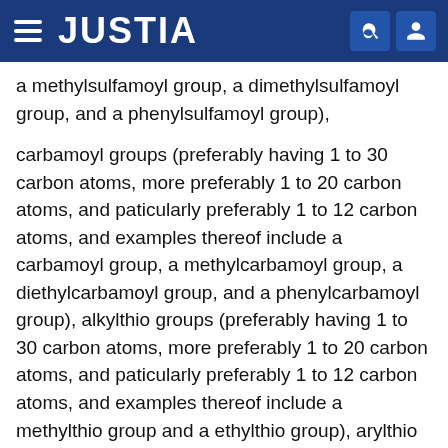JUSTIA
a methylsulfamoyl group, a dimethylsulfamoyl group, and a phenylsulfamoyl group),
carbamoyl groups (preferably having 1 to 30 carbon atoms, more preferably 1 to 20 carbon atoms, and paticularly preferably 1 to 12 carbon atoms, and examples thereof include a carbamoyl group, a methylcarbamoyl group, a diethylcarbamoyl group, and a phenylcarbamoyl group), alkylthio groups (preferably having 1 to 30 carbon atoms, more preferably 1 to 20 carbon atoms, and paticularly preferably 1 to 12 carbon atoms, and examples thereof include a methylthio group and a ethylthio group), arylthio groups (preferably having 6 to 30 carbon atoms, more preferably 6 to 20 carbon atoms, and paticularly preferably 6 to 12 carbon atoms, and examples thereof include a phenylthio group), heterocyclic thio groups (preferably having 1 to 30 carbon atoms,